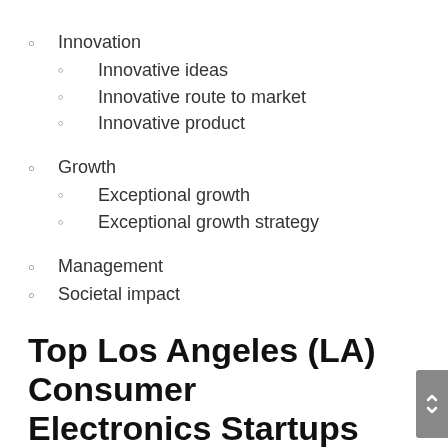Innovation
Innovative ideas
Innovative route to market
Innovative product
Growth
Exceptional growth
Exceptional growth strategy
Management
Societal impact
Top Los Angeles (LA) Consumer Electronics Startups